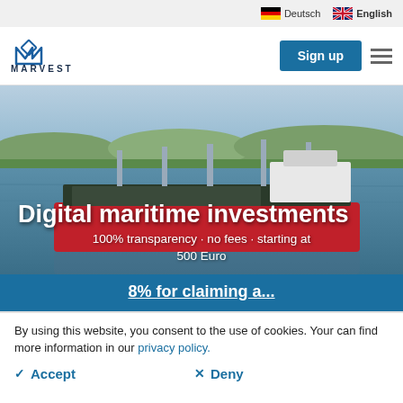Deutsch | English
[Figure (screenshot): Marvest website header with logo, Sign up button, and hamburger menu]
[Figure (photo): Aerial photograph of a large cargo ship on a wide river with green hills in the background]
Digital maritime investments
100% transparency · no fees · starting at 500 Euro
8% for claiming a...
By using this website, you consent to the use of cookies. Your can find more information in our privacy policy.
✓ Accept
✕ Deny